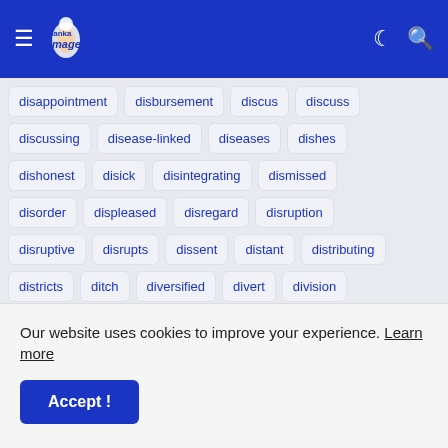[Figure (screenshot): Navigation bar with hamburger menu, Lanka Image logo, moon icon, and search icon on blue background]
disappointment
disbursement
discus
discuss
discussing
disease-linked
diseases
dishes
dishonest
disick
disintegrating
dismissed
disorder
displeased
disregard
disruption
disruptive
disrupts
dissent
distant
distributing
districts
ditch
diversified
divert
division
divisional
document
documentary
documents
docuware
dogg
doing
dolce
dole
dollars'
Our website uses cookies to improve your experience. Learn more
Accept !